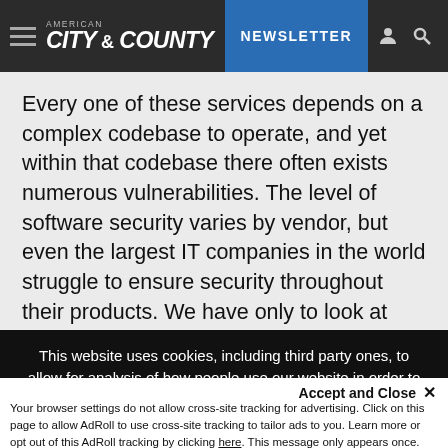AMERICAN CITY & COUNTY — NEWSLETTER
Every one of these services depends on a complex codebase to operate, and yet within that codebase there often exists numerous vulnerabilities. The level of software security varies by vendor, but even the largest IT companies in the world struggle to ensure security throughout their products. We have only to look at
This website uses cookies, including third party ones, to allow for analysis of how people use our website in order to improve your experience and our services. By continuing to use our website, you agree to the use of such cookies. Click here for more information on our Cookie Policy and Privacy Policy.
Accept and Close ✕
Your browser settings do not allow cross-site tracking for advertising. Click on this page to allow AdRoll to use cross-site tracking to tailor ads to you. Learn more or opt out of this AdRoll tracking by clicking here. This message only appears once.